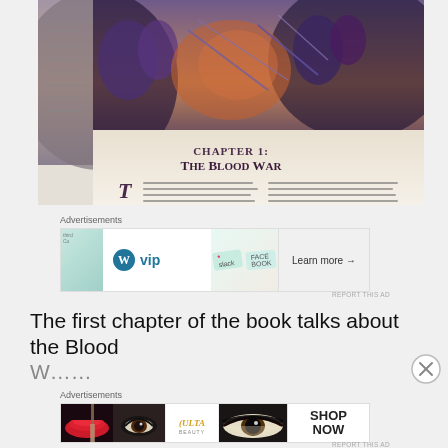[Figure (photo): Photo of an open fantasy book showing Chapter 1: The Blood War with illustrated cover art depicting demons and fantasy creatures in purple and orange tones]
Advertisements
[Figure (screenshot): Advertisement banner showing WordPress VIP logo alongside Slack and Facebook logos, with a 'Learn more' button]
REPORT THIS AD
The first chapter of the book talks about the Blood
Advertisements
[Figure (screenshot): Ulta Beauty advertisement showing makeup images including lips, brushes, eyes, Ulta logo, and eyes with SHOP NOW button]